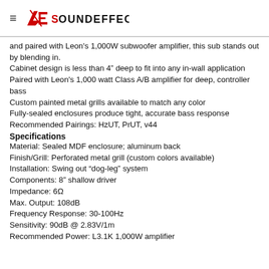Sound Effects logo header
and paired with Leon's 1,000W subwoofer amplifier, this sub stands out by blending in.
Cabinet design is less than 4" deep to fit into any in-wall application
Paired with Leon's 1,000 watt Class A/B amplifier for deep, controller bass
Custom painted metal grills available to match any color
Fully-sealed enclosures produce tight, accurate bass response
Recommended Pairings: HzUT, PrUT, v44
Specifications
Material: Sealed MDF enclosure; aluminum back
Finish/Grill: Perforated metal grill (custom colors available)
Installation: Swing out “dog-leg” system
Components: 8” shallow driver
Impedance: 6Ω
Max. Output: 108dB
Frequency Response: 30-100Hz
Sensitivity: 90dB @ 2.83V/1m
Recommended Power: L3.1K 1,000W amplifier